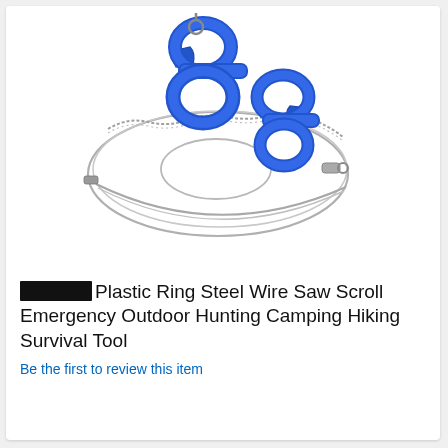[Figure (photo): A blue plastic ring steel wire saw with two blue ergonomic handles connected by a coiled steel wire/chain. The handles have finger-ring grips. The wire saw is looped and coiled on a white background.]
[REDACTED] Plastic Ring Steel Wire Saw Scroll Emergency Outdoor Hunting Camping Hiking Survival Tool
Be the first to review this item